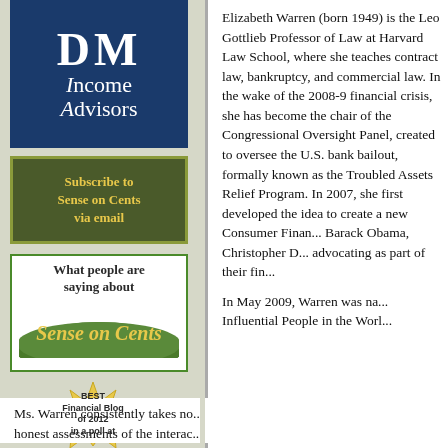[Figure (logo): DM Income Advisors blue logo box with white text]
[Figure (illustration): Subscribe to Sense on Cents via email - dark olive green button with gold text and green border]
[Figure (illustration): What people are saying about Sense on Cents - white box with green border and gold stylized logo]
[Figure (illustration): Best Financial Blog of 2012 in a poll at - gold star badge]
Elizabeth Warren (born 1949) is the Leo Gottlieb Professor of Law at Harvard Law School, where she teaches contract law, bankruptcy, and commercial law. In the wake of the 2008-9 financial crisis, she has become the chair of the Congressional Oversight Panel, created to oversee the U.S. bank bailout, formally known as the Troubled Assets Relief Program. In 2007, she first developed the idea to create a new Consumer Financial... Barack Obama, Christopher D... advocating as part of their fin...
In May 2009, Warren was na... Influential People in the Worl...
Ms. Warren consistently takes no... honest assessments of the interac...